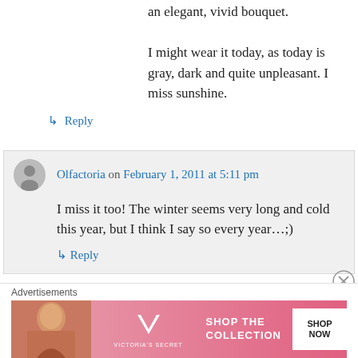an elegant, vivid bouquet. I might wear it today, as today is gray, dark and quite unpleasant. I miss sunshine.
↳ Reply
Olfactoria on February 1, 2011 at 5:11 pm
I miss it too! The winter seems very long and cold this year, but I think I say so every year…;)
↳ Reply
[Figure (photo): Victoria's Secret advertisement banner with a model, VS logo, 'SHOP THE COLLECTION' text, and 'SHOP NOW' button]
Advertisements